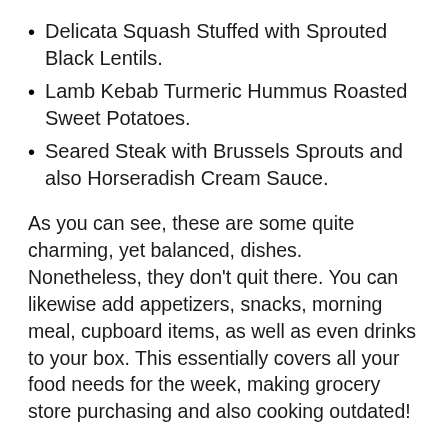Delicata Squash Stuffed with Sprouted Black Lentils.
Lamb Kebab Turmeric Hummus Roasted Sweet Potatoes.
Seared Steak with Brussels Sprouts and also Horseradish Cream Sauce.
As you can see, these are some quite charming, yet balanced, dishes. Nonetheless, they don’t quit there. You can likewise add appetizers, snacks, morning meal, cupboard items, as well as even drinks to your box. This essentially covers all your food needs for the week, making grocery store purchasing and also cooking outdated!
That is CookUnity